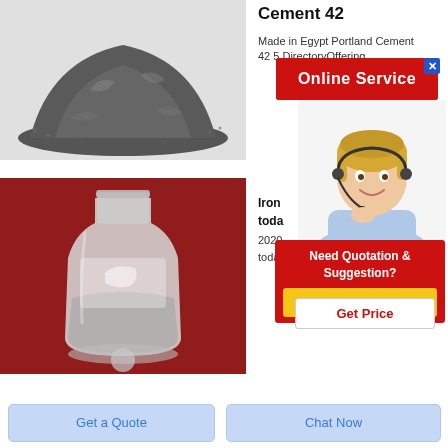[Figure (photo): Top product image: dark grey cement powder heap on white/light grey background]
Cement 42
Made in Egypt Portland Cement 42 5 DirectoryOffering
[Figure (screenshot): Online Service popup with red background and close button (X)]
[Figure (photo): Customer service agent (blonde woman with headset) popup image]
[Figure (photo): Bottom product image: cement powder inside clear bottle/flask on red background]
Iron ... today...
2020 ... today ...
[Figure (screenshot): Need Quotation & Suggestion? popup with Free Chat button]
Get Price
Get a Quote
Chat Now